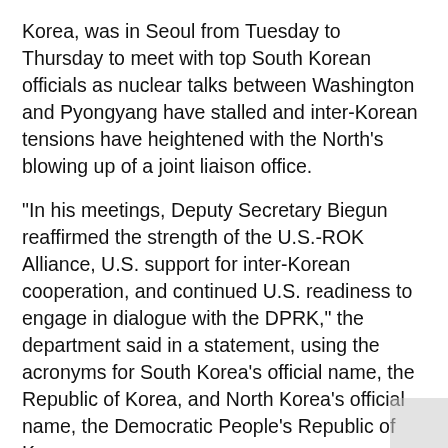Korea, was in Seoul from Tuesday to Thursday to meet with top South Korean officials as nuclear talks between Washington and Pyongyang have stalled and inter-Korean tensions have heightened with the North's blowing up of a joint liaison office.
"In his meetings, Deputy Secretary Biegun reaffirmed the strength of the U.S.-ROK Alliance, U.S. support for inter-Korean cooperation, and continued U.S. readiness to engage in dialogue with the DPRK," the department said in a statement, using the acronyms for South Korea's official name, the Republic of Korea, and North Korea's official name, the Democratic People's Republic of Korea.
Biegun met with officials including Foreign Minister Kang Kyung-wha, presidential national security